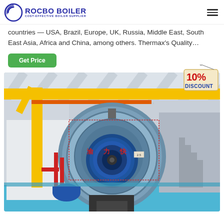ROCBO BOILER — COST-EFFECTIVE BOILER SUPPLIER
countries — USA, Brazil, Europe, UK, Russia, Middle East, South East Asia, Africa and China, among others. Thermax's Quality…
[Figure (other): Green 'Get Price' button]
[Figure (photo): Industrial boiler room with large blue cylindrical boiler, yellow overhead crane/pipes, red piping, blue floor. A '10% DISCOUNT' tag overlay in upper right corner.]